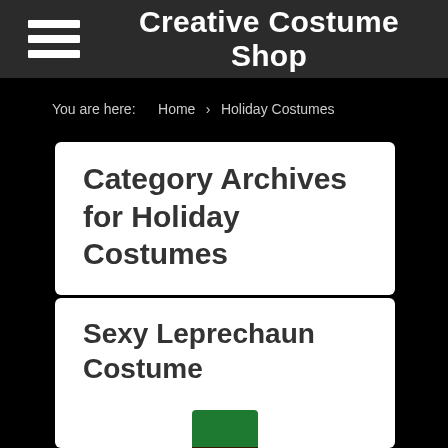Creative Costume Shop
You are here: Home > Holiday Costumes
Category Archives for Holiday Costumes
Sexy Leprechaun Costume
[Figure (photo): Partial image of a person wearing a green leprechaun hat with a black buckle band, the image is cut off at the bottom of the page.]